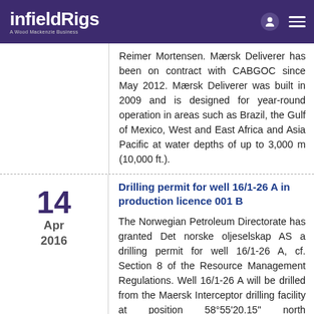infieldRigs — A Wood Mackenzie Business
Reimer Mortensen. Mærsk Deliverer has been on contract with CABGOC since May 2012. Mærsk Deliverer was built in 2009 and is designed for year-round operation in areas such as Brazil, the Gulf of Mexico, West and East Africa and Asia Pacific at water depths of up to 3,000 m (10,000 ft.).
Drilling permit for well 16/1-26 A in production licence 001 B
The Norwegian Petroleum Directorate has granted Det norske oljeselskap AS a drilling permit for well 16/1-26 A, cf. Section 8 of the Resource Management Regulations. Well 16/1-26 A will be drilled from the Maersk Interceptor drilling facility at position 58°55'20.15" north 02°11'53.03" east in production licence 001 B. The drilling programme for the 16/1-26 A well relates to the drilling of an appraisal well on the 16/1-7 oil discovery, which is part of the Ivar Aasen field,